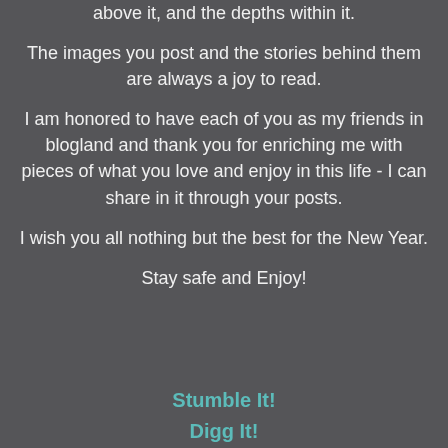above it, and the depths within it.
The images you post and the stories behind them are always a joy to read.
I am honored to have each of you as my friends in blogland and thank you for enriching me with pieces of what you love and enjoy in this life - I can share in it through your posts.
I wish you all nothing but the best for the New Year.
Stay safe and Enjoy!
Stumble It!
Digg It!